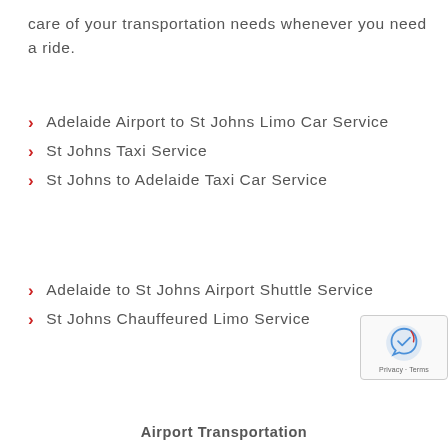care of your transportation needs whenever you need a ride.
Adelaide Airport to St Johns Limo Car Service
St Johns Taxi Service
St Johns to Adelaide Taxi Car Service
Adelaide to St Johns Airport Shuttle Service
St Johns Chauffeured Limo Service
Airport Transportation